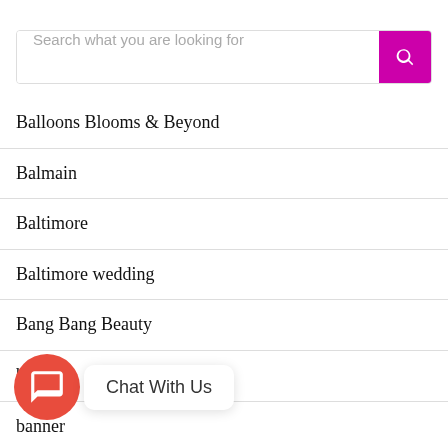Search what you are looking for
Balloons Blooms & Beyond
Balmain
Baltimore
Baltimore wedding
Bang Bang Beauty
bank
banner
Bar Jewellery
BarBK
BarChef
Chat With Us